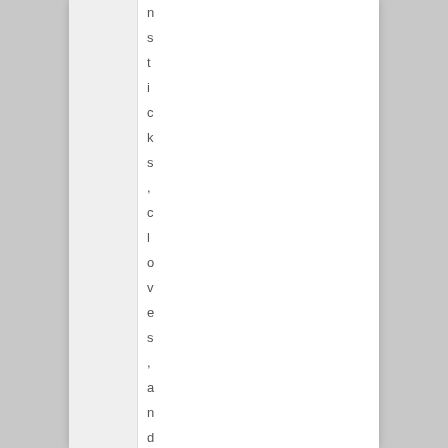n s t i c k s , c l o v e s , a n d c a r d a m o